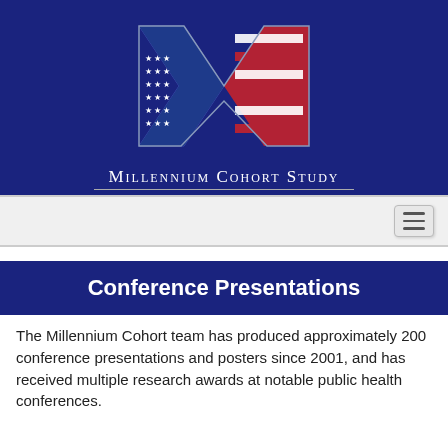[Figure (logo): Millennium Cohort Study logo: large stylized M letter with American flag stars and stripes pattern on dark navy background, with text 'Millennium Cohort Study' below]
[Figure (screenshot): Navigation bar with hamburger menu icon on light gray background]
Conference Presentations
The Millennium Cohort team has produced approximately 200 conference presentations and posters since 2001, and has received multiple research awards at notable public health conferences.
Search: